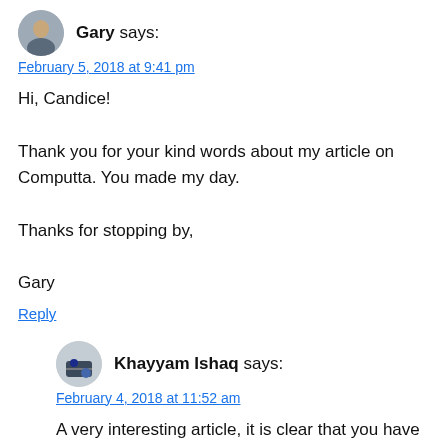[Figure (illustration): Avatar of Gary — circular profile photo of a person]
Gary says:
February 5, 2018 at 9:41 pm
Hi, Candice!

Thank you for your kind words about my article on Computta. You made my day.

Thanks for stopping by,

Gary
Reply
[Figure (illustration): Avatar of Khayyam Ishaq — circular profile photo]
Khayyam Ishaq says:
February 4, 2018 at 11:52 am
A very interesting article, it is clear that you have been reviewing products online for some time.

Computta seems to be a scam software with no